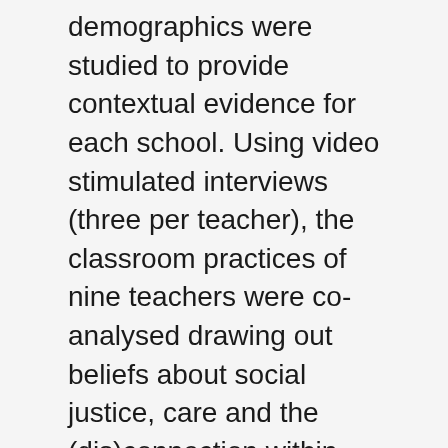demographics were studied to provide contextual evidence for each school. Using video stimulated interviews (three per teacher), the classroom practices of nine teachers were co-analysed drawing out beliefs about social justice, care and the (dis)connection within the teachers' observed practices. Finally, teachers observed the videos of others and discussed the role context might play in the practices of those teachers. These research methods provoke a reflexive practice, which is understood in the literature as key to 'reading' the dispositions which influence practice.
Findings indicate that this reflexive method promotes discussion and identification of personal strategies to overcome inequities and precariousness by permeating the boundaries that perpetuate concepts of othering and